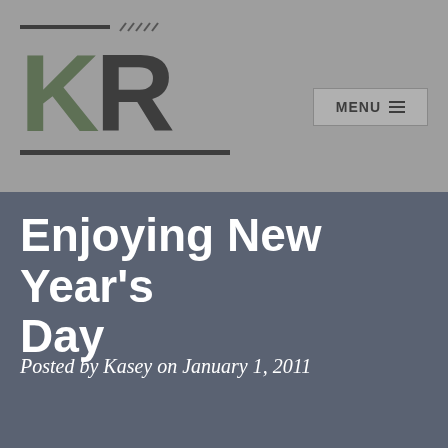[Figure (logo): KR logo with green K and dark R letters, horizontal lines above and below]
Enjoying New Year's Day
Posted by Kasey on January 1, 2011